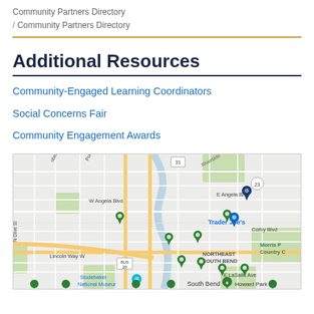Community Partners Directory
/ Community Partners Directory
Additional Resources
Community-Engaged Learning Coordinators
Social Concerns Fair
Community Engagement Awards
[Figure (map): Google Maps view of South Bend, Indiana area showing multiple green location markers around Notre Dame/North South Bend area, with street labels including W Angela Blvd, E Angela Blvd, Lincoln Way W, E LaSalle Ave, Corby Blvd, and landmarks including Trader Joe's, Studebaker National Museum, Howard Park, Morris P Country C, and NORTHEAST SOUTH BEND label. Route markers for 31, 23, BUS 20 visible.]